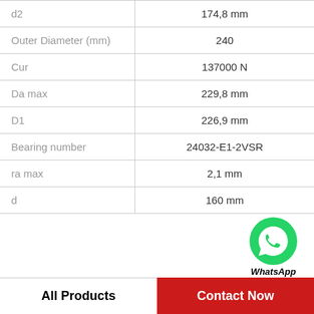| Parameter | Value |
| --- | --- |
| d2 | 174,8 mm |
| Outer Diameter (mm) | 240 |
| Cur | 137000 N |
| Da max | 229,8 mm |
| D1 | 226,9 mm |
| Bearing number | 24032-E1-2VSR |
| ra max | 2,1 mm |
| d | 160 mm |
[Figure (logo): WhatsApp Online badge with green phone icon]
All Products
Contact Now